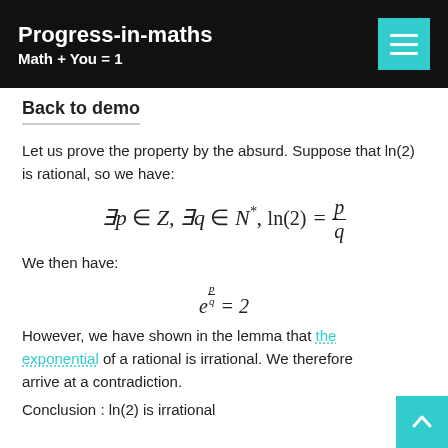Progress-in-maths
Math + You = 1
Back to demo
Let us prove the property by the absurd. Suppose that ln(2) is rational, so we have:
We then have:
However, we have shown in the lemma that the exponential of a rational is irrational. We therefore arrive at a contradiction.
Conclusion : ln(2) is irrational